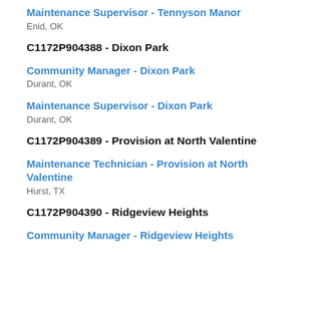Maintenance Supervisor - Tennyson Manor
Enid, OK
C1172P904388 - Dixon Park
Community Manager - Dixon Park
Durant, OK
Maintenance Supervisor - Dixon Park
Durant, OK
C1172P904389 - Provision at North Valentine
Maintenance Technician - Provision at North Valentine
Hurst, TX
C1172P904390 - Ridgeview Heights
Community Manager - Ridgeview Heights